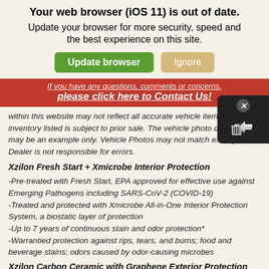Your web browser (iOS 11) is out of date.
Update your browser for more security, speed and the best experience on this site.
If you have any questions, comments or concerns, please click here to Contact Us!
within this website may not reflect all accurate vehicle items. All inventory listed is subject to prior sale. The vehicle photo displayed may be an example only. Vehicle Photos may not match exactly. Dealer is not responsible for errors.
Xzilon Fresh Start + Xmicrobe Interior Protection
-Pre-treated with Fresh Start, EPA approved for effective use against Emerging Pathogens including SARS-CoV-2 (COVID-19)
-Treated and protected with Xmicrobe All-in-One Interior Protection System, a biostatic layer of protection
-Up to 7 years of continuous stain and odor protection*
-Warrantied protection against rips, tears, and burns; food and beverage stains; odors caused by odor-causing microbes
Xzilon Carbon Ceramic with Graphene Exterior Protection